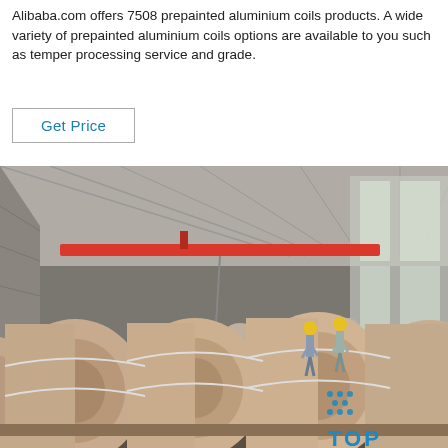Alibaba.com offers 7508 prepainted aluminium coils products. A wide variety of prepainted aluminium coils options are available to you such as temper processing service and grade.
Get Price
[Figure (photo): Warehouse interior showing large aluminium coils stacked on pallets. Two workers in yellow hard hats stand among the coils. A red overhead crane is visible in the background. A 'TOP' watermark logo appears in the bottom right corner.]